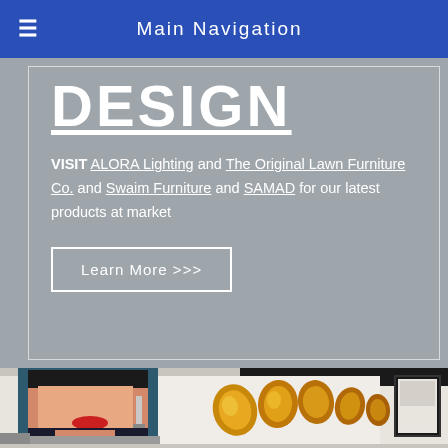Main Navigation
DESIGN
VISIT ALORA Lighting and The Original Lawn Furniture Co. and Swaim Furniture and SAMAD for our latest products at market
Learn More >>>
[Figure (photo): Interior room photo showing a large pop-art portrait painting of a woman with red lipstick and dangling earrings on the left, gold/amber organic-shaped wall sculptures arranged in a row across the center wall, framed artwork on the right wall, with dark ceiling beams and gray sofas visible]